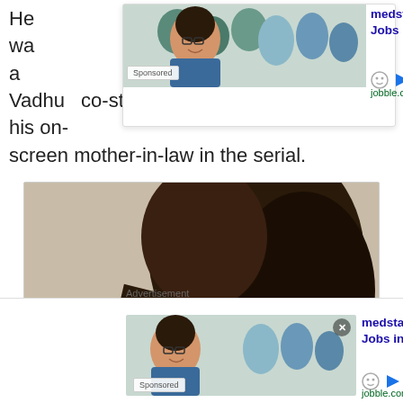He wa... a Vadhu co-star Smita Bansal, who played his on-screen mother-in-law in the serial.
[Figure (screenshot): Advertisement banner for medstar health Radiographer Jobs in Ashburn Apply Now from jobble.com, with Sponsored label, overlaid on article text at top of page.]
[Figure (photo): Selfie photo of two people, a man and a woman, smiling closely together. The woman has long dark brown hair and is smiling broadly. The man is partially visible at the left/bottom of the frame.]
Advertisement
[Figure (screenshot): Advertisement banner at bottom for medstar health Radiographer Jobs in Ashburn Apply Now from jobble.com, with Sponsored label and X close button.]